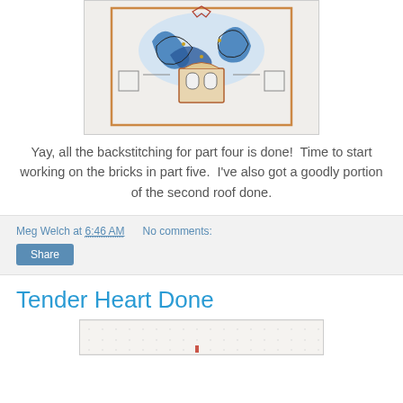[Figure (photo): A cross-stitch embroidery piece showing an ornate architectural or carpet design with blue scrollwork, arches, and decorative borders on white fabric.]
Yay, all the backstitching for part four is done!  Time to start working on the bricks in part five.  I've also got a goodly portion of the second roof done.
Meg Welch at 6:46 AM   No comments:
Share
Tender Heart Done
[Figure (photo): Bottom portion of another cross-stitch embroidery piece, partially visible.]